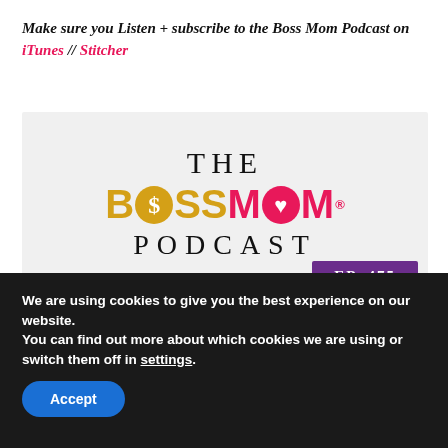Make sure you Listen + subscribe to the Boss Mom Podcast on iTunes // Stitcher
[Figure (logo): The Boss Mom Podcast logo with 'THE' in black serif, 'BOSSMOM' in gold/pink with dollar sign and heart icons, 'PODCAST' in black serif, and 'EP. 475' badge in purple]
We are using cookies to give you the best experience on our website.
You can find out more about which cookies we are using or switch them off in settings.
Accept